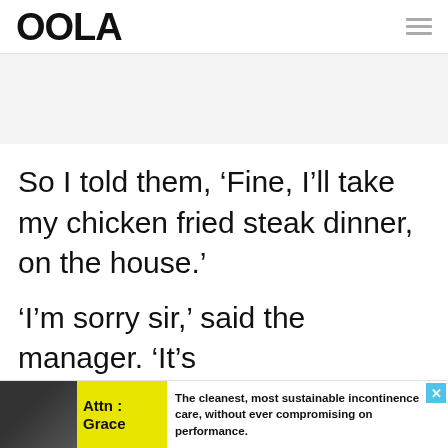OOLA
So I told them, ‘Fine, I’ll take my chicken fried steak dinner, on the house.’
‘I’m sorry sir,’ said the manager. ‘It’s
[Figure (other): Advertisement banner at bottom: Attn: Grace incontinence care ad with yellow branding and close button]